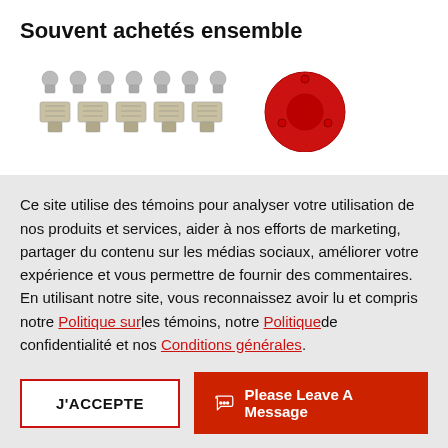Souvent achetés ensemble
[Figure (photo): Product images: a set of small metal connectors/bolts and a red circular disc/cap component, shown as 'frequently bought together' items on an e-commerce page.]
Ce site utilise des témoins pour analyser votre utilisation de nos produits et services, aider à nos efforts de marketing, partager du contenu sur les médias sociaux, améliorer votre expérience et vous permettre de fournir des commentaires. En utilisant notre site, vous reconnaissez avoir lu et compris notre Politique sur les témoins, notre Politique de confidentialité et nos Conditions générales.
J'ACCEPTE
Please Leave A Message